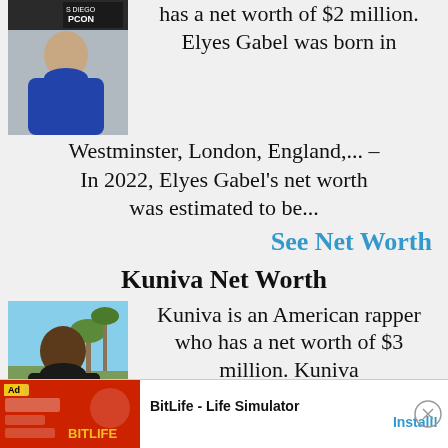[Figure (photo): Photo of Elyes Gabel at what appears to be a convention (San Diego Comic-Con backdrop visible)]
has a net worth of $2 million. Elyes Gabel was born in Westminster, London, England,... – In 2022, Elyes Gabel's net worth was estimated to be...
See Net Worth
Kuniva Net Worth
[Figure (photo): Photo of Kuniva, an American rapper, outdoors with palm trees in background]
Kuniva is an American rapper who has a net worth of $3 million. Kuniva
[Figure (screenshot): Advertisement bar: BitLife - Life Simulator game ad with Install button]